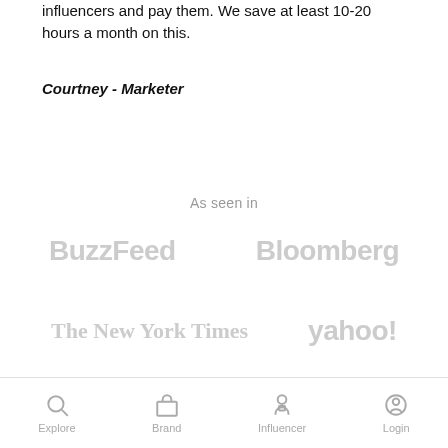influencers and pay them. We save at least 10-20 hours a month on this.
Courtney - Marketer
As seen in
[Figure (logo): BuzzFeed logo in gray]
[Figure (logo): Bloomberg logo in gray]
[Figure (logo): The New York Times logo in gray serif font]
[Figure (logo): yahoo! logo in gray]
Explore  Brand  Influencer  Login